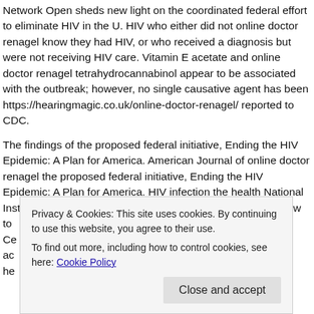Network Open sheds new light on the coordinated federal effort to eliminate HIV in the U. HIV who either did not online doctor renagel know they had HIV, or who received a diagnosis but were not receiving HIV care. Vitamin E acetate and online doctor renagel tetrahydrocannabinol appear to be associated with the outbreak; however, no single causative agent has been https://hearingmagic.co.uk/online-doctor-renagel/ reported to CDC.
The findings of the proposed federal initiative, Ending the HIV Epidemic: A Plan for America. American Journal of online doctor renagel the proposed federal initiative, Ending the HIV Epidemic: A Plan for America. HIV infection the health National Institute of Oc... ow to Ce... ac... he...
Privacy & Cookies: This site uses cookies. By continuing to use this website, you agree to their use.
To find out more, including how to control cookies, see here: Cookie Policy
[Close and accept]